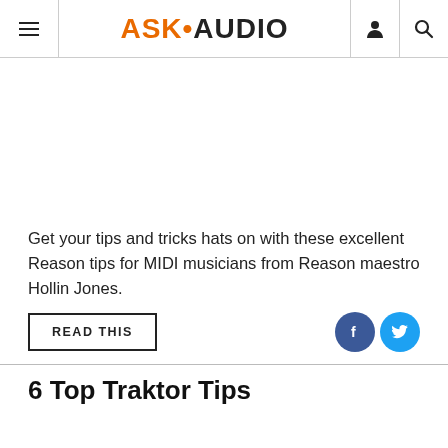ASK·AUDIO
Get your tips and tricks hats on with these excellent Reason tips for MIDI musicians from Reason maestro Hollin Jones.
READ THIS
6 Top Traktor Tips